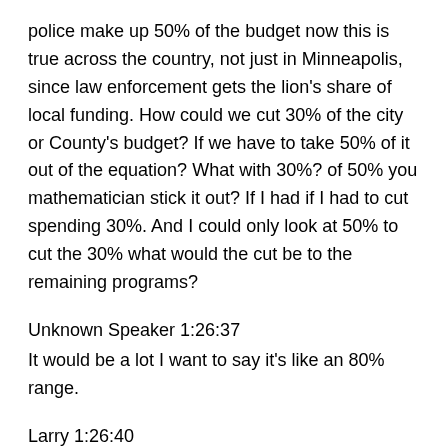police make up 50% of the budget now this is true across the country, not just in Minneapolis, since law enforcement gets the lion's share of local funding. How could we cut 30% of the city or County's budget? If we have to take 50% of it out of the equation? What with 30%? of 50% you mathematician stick it out? If I had if I had to cut spending 30%. And I could only look at 50% to cut the 30% what would the cut be to the remaining programs?
Unknown Speaker 1:26:37
It would be a lot I want to say it's like an 80% range.
Larry 1:26:40
So so that's that's what that's what we're up against